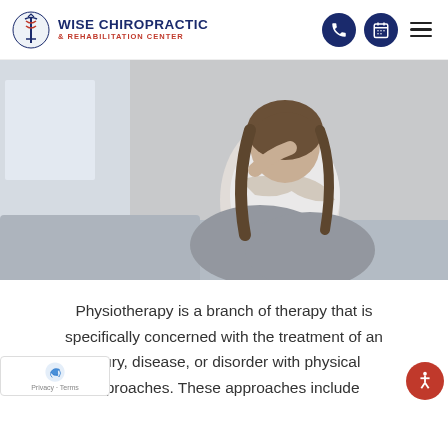WISE CHIROPRACTIC & REHABILITATION CENTER
[Figure (photo): A woman sitting on a bed with her head resting on her arm, appearing to be in pain or distress. She has long brown hair and is wearing a white t-shirt and grey pants. The background is a softly lit bedroom.]
Physiotherapy is a branch of therapy that is specifically concerned with the treatment of an injury, disease, or disorder with physical approaches. These approaches include